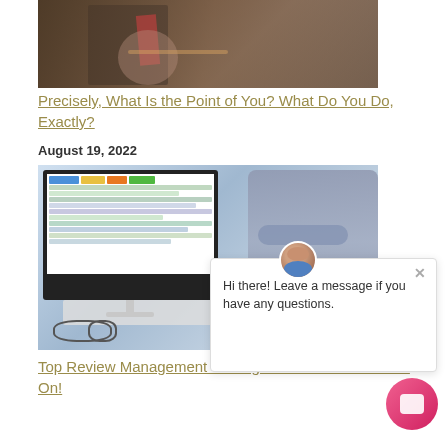[Figure (photo): A person in a pinstripe suit sitting in a chair, cropped view showing torso and hands]
Precisely, What Is the Point of You? What Do You Do, Exactly?
August 19, 2022
[Figure (photo): A person pointing at a computer monitor displaying a dashboard with colored buttons and data rows, with keyboard and glasses visible on the desk. A chat popup overlay is visible.]
Top Review Management Strategies You Need to Focus On!